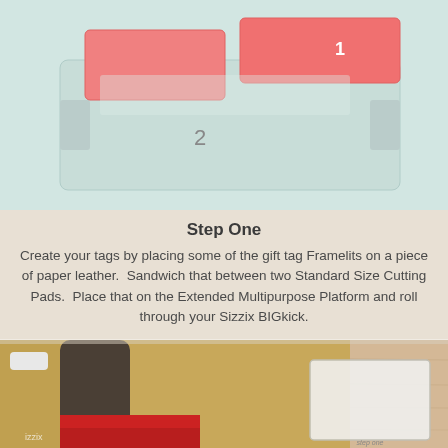[Figure (photo): Top-down view of a Sizzix cutting platform showing a mint green Extended Multipurpose Platform with number 2 labeled, and two pink/coral Standard Size Cutting Pads with number 1 labeled, arranged on a light surface.]
Step One
Create your tags by placing some of the gift tag Framelits on a piece of paper leather.  Sandwich that between two Standard Size Cutting Pads.  Place that on the Extended Multipurpose Platform and roll through your Sizzix BIGkick.
[Figure (photo): Photo of a Sizzix BIGkick die-cutting machine with a gold/tan body and dark handle, with red cutting plates visible. A clear plastic box or tag is visible to the right side, placed on a wooden surface with some stamped paper visible underneath.]